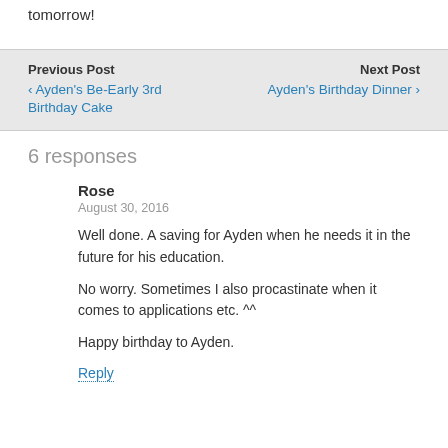tomorrow!
Previous Post
‹ Ayden's Be-Early 3rd Birthday Cake
Next Post
Ayden's Birthday Dinner ›
6 responses
Rose
August 30, 2016
Well done. A saving for Ayden when he needs it in the future for his education.
No worry. Sometimes I also procastinate when it comes to applications etc. ^^
Happy birthday to Ayden.
Reply